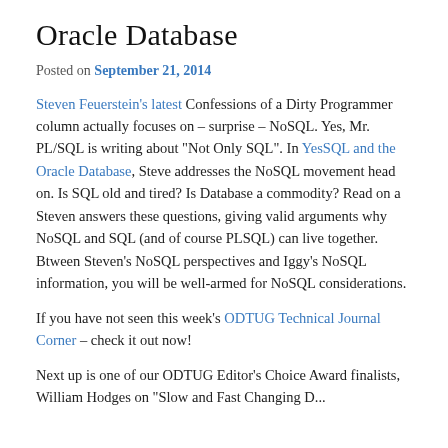Oracle Database
Posted on September 21, 2014
Steven Feuerstein's latest Confessions of a Dirty Programmer column actually focuses on – surprise – NoSQL. Yes, Mr. PL/SQL is writing about "Not Only SQL".  In YesSQL and the Oracle Database, Steve addresses the NoSQL movement head on.  Is SQL old and tired?  Is Database a commodity?  Read on a Steven answers these questions, giving valid arguments why NoSQL and SQL (and of course PLSQL) can live together.  Btween Steven's NoSQL perspectives and Iggy's NoSQL information, you will be well-armed for NoSQL considerations.
If you have not seen this week's ODTUG Technical Journal Corner – check it out now!
Next up is one of our ODTUG Editor's Choice Award finalists, William Hodges on "Slow and Fast Changing Dimensions in Hyperion Planning". A S...